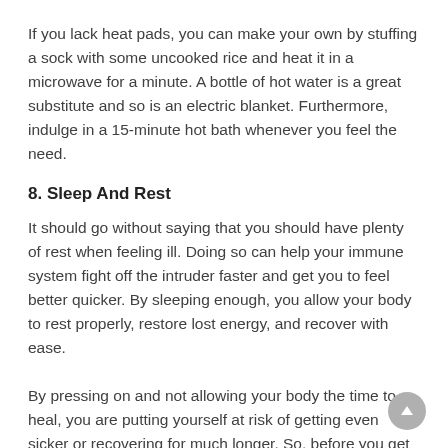If you lack heat pads, you can make your own by stuffing a sock with some uncooked rice and heat it in a microwave for a minute. A bottle of hot water is a great substitute and so is an electric blanket. Furthermore, indulge in a 15-minute hot bath whenever you feel the need.
8. Sleep And Rest
It should go without saying that you should have plenty of rest when feeling ill. Doing so can help your immune system fight off the intruder faster and get you to feel better quicker. By sleeping enough, you allow your body to rest properly, restore lost energy, and recover with ease.
By pressing on and not allowing your body the time to heal, you are putting yourself at risk of getting even sicker or recovering for much longer. So, before you get back to your old ways, take some time to sit down, relax, and sleep.